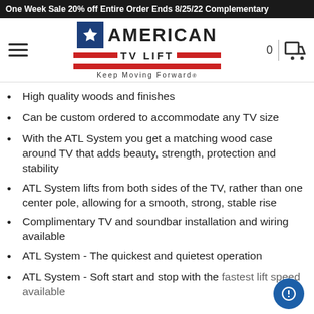One Week Sale 20% off Entire Order Ends 8/25/22 Complementary
[Figure (logo): American TV Lift logo with star, brand name, red bars, and tagline 'Keep Moving Forward']
High quality woods and finishes
Can be custom ordered to accommodate any TV size
With the ATL System you get a matching wood case around TV that adds beauty, strength, protection and stability
ATL System lifts from both sides of the TV, rather than one center pole, allowing for a smooth, strong, stable rise
Complimentary TV and soundbar installation and wiring available
ATL System - The quickest and quietest operation
ATL System - Soft start and stop with the fastest lift speed available